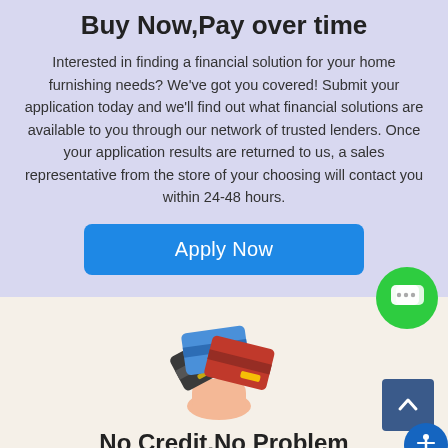Buy Now,Pay over time
Interested in finding a financial solution for your home furnishing needs? We've got you covered! Submit your application today and we'll find out what financial solutions are available to you through our network of trusted lenders. Once your application results are returned to us, a sales representative from the store of your choosing will contact you within 24-48 hours.
[Figure (other): Blue 'Apply Now' button]
[Figure (illustration): Hand holding multiple credit cards (blue, dark grey, red)]
No Credit,No Problem